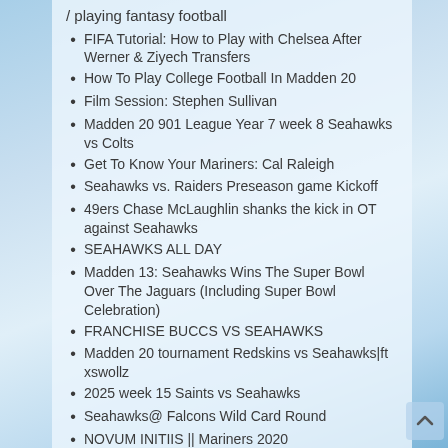/ playing fantasy football
FIFA Tutorial: How to Play with Chelsea After Werner & Ziyech Transfers
How To Play College Football In Madden 20
Film Session: Stephen Sullivan
Madden 20 901 League Year 7 week 8 Seahawks vs Colts
Get To Know Your Mariners: Cal Raleigh
Seahawks vs. Raiders Preseason game Kickoff
49ers Chase McLaughlin shanks the kick in OT against Seahawks
SEAHAWKS ALL DAY
Madden 13: Seahawks Wins The Super Bowl Over The Jaguars (Including Super Bowl Celebration)
FRANCHISE BUCCS VS SEAHAWKS
Madden 20 tournament Redskins vs Seahawks|ft xswollz
2025 week 15 Saints vs Seahawks
Seahawks@ Falcons Wild Card Round
NOVUM INITIIS || Mariners 2020